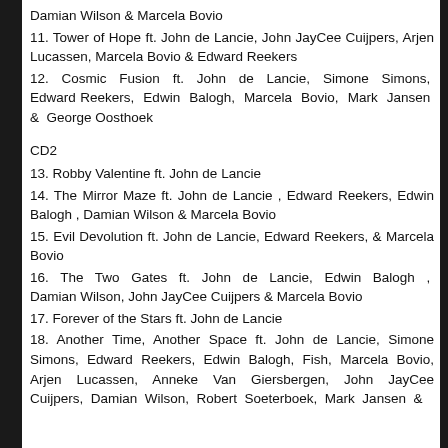Damian Wilson & Marcela Bovio
11. Tower of Hope ft. John de Lancie, John JayCee Cuijpers, Arjen Lucassen, Marcela Bovio & Edward Reekers
12. Cosmic Fusion ft. John de Lancie, Simone Simons, Edward Reekers, Edwin Balogh, Marcela Bovio, Mark Jansen & George Oosthoek
CD2
13. Robby Valentine ft. John de Lancie
14. The Mirror Maze ft. John de Lancie , Edward Reekers, Edwin Balogh , Damian Wilson & Marcela Bovio
15. Evil Devolution ft. John de Lancie, Edward Reekers, & Marcela Bovio
16. The Two Gates ft. John de Lancie, Edwin Balogh , Damian Wilson, John JayCee Cuijpers & Marcela Bovio
17. Forever of the Stars ft. John de Lancie
18. Another Time, Another Space ft. John de Lancie, Simone Simons, Edward Reekers, Edwin Balogh, Fish, Marcela Bovio, Arjen Lucassen, Anneke Van Giersbergen, John JayCee Cuijpers, Damian Wilson, Robert Soeterboek, Mark Jansen & George Oosthoek